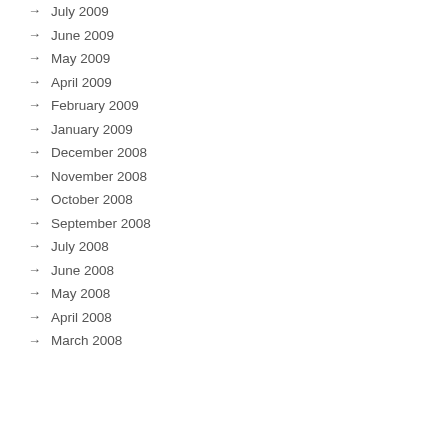July 2009
June 2009
May 2009
April 2009
February 2009
January 2009
December 2008
November 2008
October 2008
September 2008
July 2008
June 2008
May 2008
April 2008
March 2008